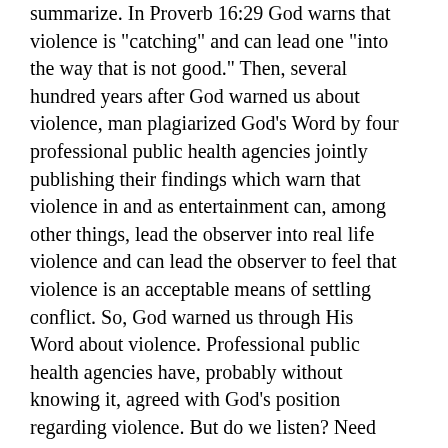summarize. In Proverb 16:29 God warns that violence is "catching" and can lead one "into the way that is not good." Then, several hundred years after God warned us about violence, man plagiarized God's Word by four professional public health agencies jointly publishing their findings which warn that violence in and as entertainment can, among other things, lead the observer into real life violence and can lead the observer to feel that violence is an acceptable means of settling conflict. So, God warned us through His Word about violence. Professional public health agencies have, probably without knowing it, agreed with God's position regarding violence. But do we listen? Need more? Take a look at 1 Cor. 15:33.